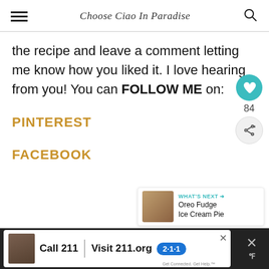Choose Ciao In Paradise
the recipe and leave a comment letting me know how you liked it. I love hearing from you! You can FOLLOW ME on:
PINTEREST
FACEBOOK
[Figure (screenshot): What's Next panel showing Oreo Fudge Ice Cream Pie with thumbnail image]
[Figure (screenshot): Advertisement bar: Call 211 | Visit 211.org with 2-1-1 badge]